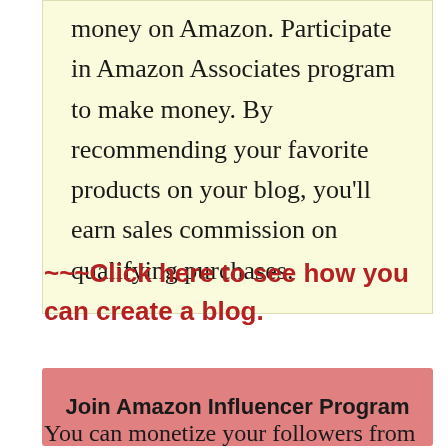money on Amazon. Participate in Amazon Associates program to make money. By recommending your favorite products on your blog, you'll earn sales commission on qualifying purchases.
~~~Click here to see how you can create a blog.
Join Amazon Influencer Program
You can monetize your followers from